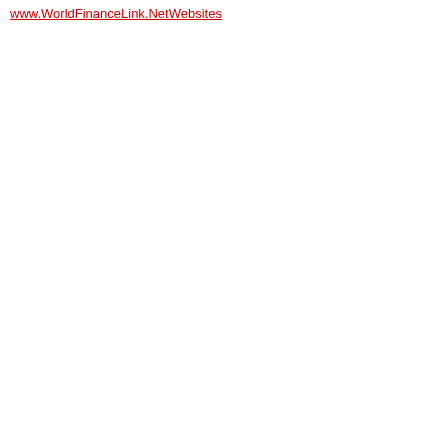www.WorldFinanceLink.NetWebsites
people to me what makes populated cit them. Total P approximatel
How To Writ
Writing a bu ensuring you succeeding. 10 businesses operation, ar the following
Business So
You see it oft Customers s in large drow cannot be ex
Creating a P
Part of the po all the neces company. It i information, a quite another that you may likely work di product purch appropriate p on others sh you gathered the personali and also how decision to m these other c spending lim